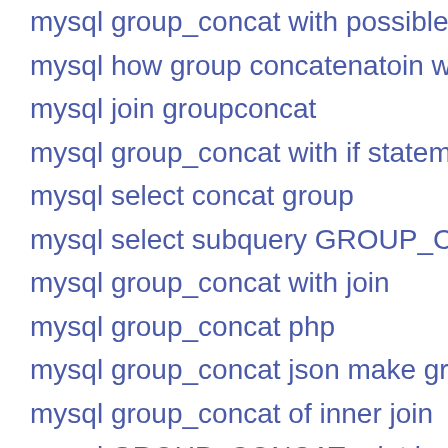mysql group_concat with possible keys
mysql how group concatenatoin work
mysql join groupconcat
mysql group_concat with if statement
mysql select concat group
mysql select subquery GROUP_CONCAT
mysql group_concat with join
mysql group_concat php
mysql group_concat json make group by
mysql group_concat of inner join
mysql GROUP_CONCAT print in php
mysql group_concat returns only one row
mysql group_concat separate to new column
mysql group_concat support version